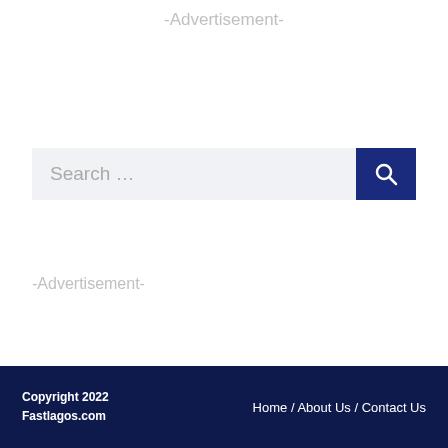-Advertisement-
[Figure (other): Search bar with text 'Search ...' and a dark blue search button with a magnifying glass icon]
-Advertisement-
Copyright 2022 Fastlagos.com   Home / About Us / Contact Us